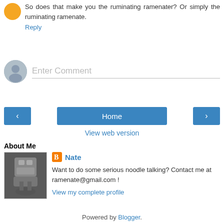So does that make you the ruminating ramenater? Or simply the ruminating ramenate.
Reply
Enter Comment
[Figure (infographic): Navigation row with left arrow button, Home button, and right arrow button]
View web version
About Me
[Figure (photo): Profile photo showing a robot/sculpture figure on a dark base]
Nate
Want to do some serious noodle talking? Contact me at ramenate@gmail.com !
View my complete profile
Powered by Blogger.